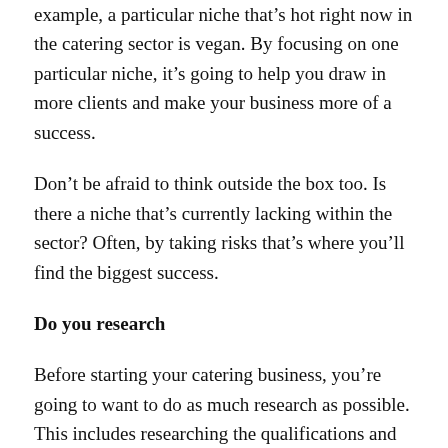example, a particular niche that's hot right now in the catering sector is vegan. By focusing on one particular niche, it's going to help you draw in more clients and make your business more of a success.
Don't be afraid to think outside the box too. Is there a niche that's currently lacking within the sector? Often, by taking risks that's where you'll find the biggest success.
Do you research
Before starting your catering business, you're going to want to do as much research as possible. This includes researching the qualifications and experience you'll need, along with information on your competitors. If you want your business to really take off, it's going to need to offer something unique. So, look at what your competitors are